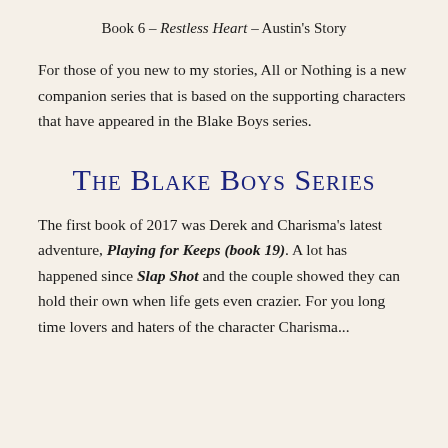Book 6 – Restless Heart – Austin's Story
For those of you new to my stories, All or Nothing is a new companion series that is based on the supporting characters that have appeared in the Blake Boys series.
The Blake Boys Series
The first book of 2017 was Derek and Charisma's latest adventure, Playing for Keeps (book 19). A lot has happened since Slap Shot and the couple showed they can hold their own when life gets even crazier. For you long time lovers and haters of the character Charisma...